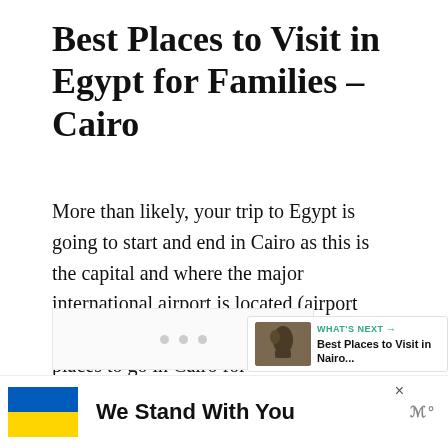Best Places to Visit in Egypt for Families – Cairo
More than likely, your trip to Egypt is going to start and end in Cairo as this is the capital and where the major international airport is located (airport code: CAI). There are so many fun places to go in Cairo for families that you'll have plenty of options to choose from.
[Figure (screenshot): A 'What's Next' widget showing a thumbnail and link to 'Best Places to Visit in Nairo...' with a green arrow label]
[Figure (screenshot): Ad banner at the bottom with Ukraine flag colors (blue and yellow) and text 'We Stand With You', with a close button X and a logo]